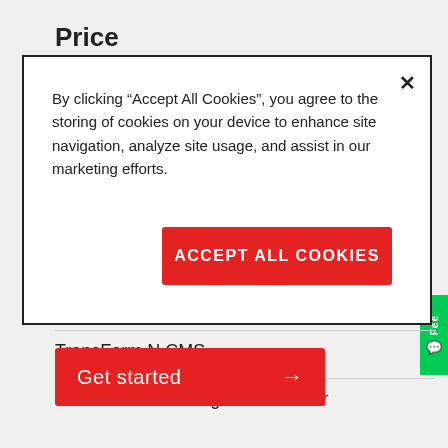Price
FOC
By clicking “Accept All Cookies”, you agree to the storing of cookies on your device to enhance site navigation, analyze site usage, and assist in our marketing efforts.
Accept All Cookies
Related products
TransForm N CMS
TransForm N Management Server
Get started →